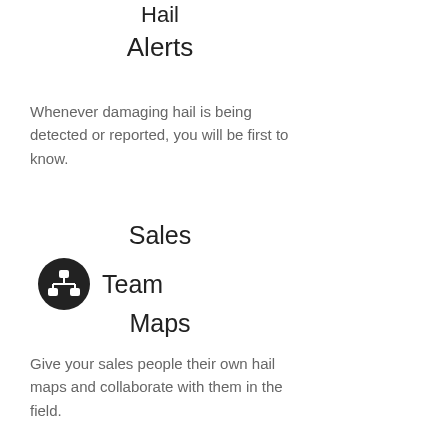Hail Alerts
Whenever damaging hail is being detected or reported, you will be first to know.
Sales Team Maps
[Figure (illustration): Dark circular icon with a white organizational chart / hierarchy symbol (three connected nodes)]
Give your sales people their own hail maps and collaborate with them in the field.